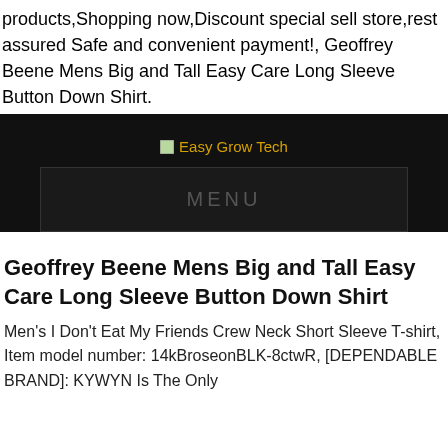products,Shopping now,Discount special sell store,rest assured Safe and convenient payment!, Geoffrey Beene Mens Big and Tall Easy Care Long Sleeve Button Down Shirt.
[Figure (logo): Easy Grow Tech website header banner with logo and MENU navigation bar on dark background]
Geoffrey Beene Mens Big and Tall Easy Care Long Sleeve Button Down Shirt
Men's I Don't Eat My Friends Crew Neck Short Sleeve T-shirt, Item model number: 14kBroseonBLK-8ctwR, [DEPENDABLE BRAND]: KYWYN Is The Only